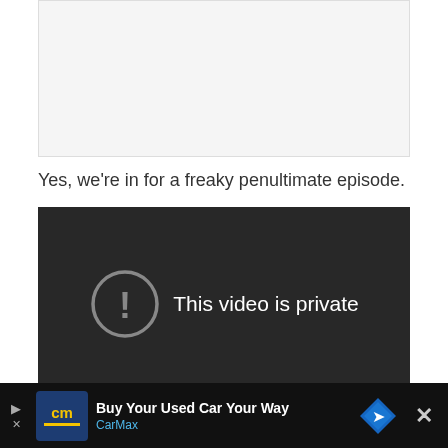[Figure (screenshot): Light gray/white rectangle representing an image or embed placeholder at the top of the page]
Yes, we're in for a freaky penultimate episode.
[Figure (screenshot): Dark video player showing 'This video is private' error with a circle exclamation icon]
[Figure (other): CarMax advertisement banner: 'Buy Your Used Car Your Way' with CarMax logo and navigation arrow icon, with a close X button]